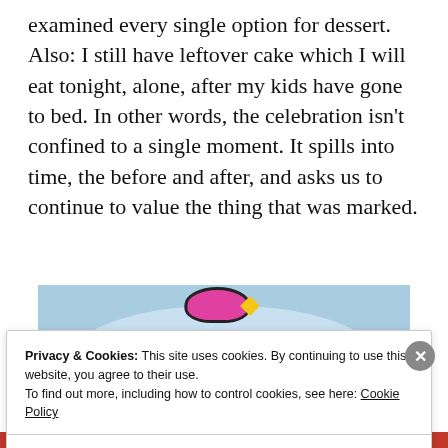examined every single option for dessert. Also: I still have leftover cake which I will eat tonight, alone, after my kids have gone to bed. In other words, the celebration isn't confined to a single moment. It spills into time, the before and after, and asks us to continue to value the thing that was marked.
[Figure (illustration): Partial illustration showing a light blue background with a pink blob shape at top center, a yellow diamond/star shape, and a white arc/hill shape below. Bottom shows orange and black bars.]
Privacy & Cookies: This site uses cookies. By continuing to use this website, you agree to their use.
To find out more, including how to control cookies, see here: Cookie Policy
Close and accept